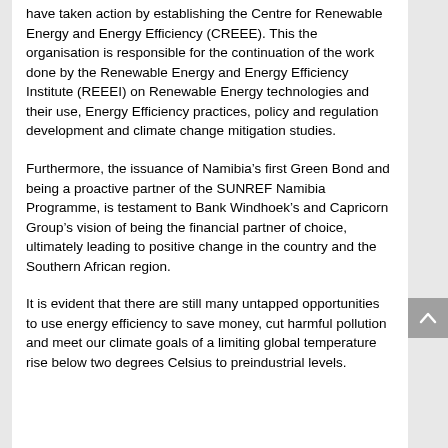have taken action by establishing the Centre for Renewable Energy and Energy Efficiency (CREEE). This the organisation is responsible for the continuation of the work done by the Renewable Energy and Energy Efficiency Institute (REEEI) on Renewable Energy technologies and their use, Energy Efficiency practices, policy and regulation development and climate change mitigation studies.
Furthermore, the issuance of Namibia's first Green Bond and being a proactive partner of the SUNREF Namibia Programme, is testament to Bank Windhoek's and Capricorn Group's vision of being the financial partner of choice, ultimately leading to positive change in the country and the Southern African region.
It is evident that there are still many untapped opportunities to use energy efficiency to save money, cut harmful pollution and meet our climate goals of a limiting global temperature rise below two degrees Celsius to preindustrial levels.